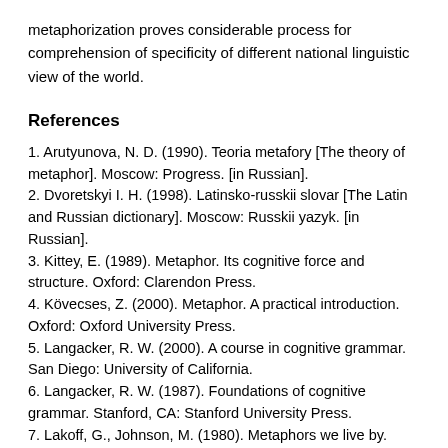metaphorization proves considerable process for comprehension of specificity of different national linguistic view of the world.
References
1. Arutyunova, N. D. (1990). Teoria metafory [The theory of metaphor]. Moscow: Progress. [in Russian].
2. Dvoretskyi I. H. (1998). Latinsko-russkii slovar [The Latin and Russian dictionary]. Moscow: Russkii yazyk. [in Russian].
3. Kittey, E. (1989). Metaphor. Its cognitive force and structure. Oxford: Clarendon Press.
4. Kövecses, Z. (2000). Metaphor. A practical introduction. Oxford: Oxford University Press.
5. Langacker, R. W. (2000). A course in cognitive grammar. San Diego: University of California.
6. Langacker, R. W. (1987). Foundations of cognitive grammar. Stanford, CA: Stanford University Press.
7. Lakoff, G., Johnson, M. (1980). Metaphors we live by. Chicago: University Press of Chicago.
8. Lakoff, G., Turner M. (1989). More than cool reason: A field